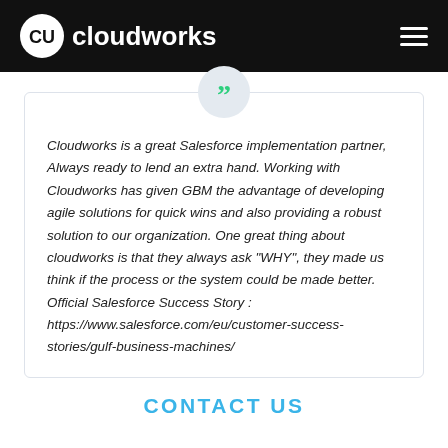Cloudworks
Cloudworks is a great Salesforce implementation partner. Always ready to lend an extra hand. Working with Cloudworks has given GBM the advantage of developing agile solutions for quick wins and also providing a robust solution to our organization. One great thing about cloudworks is that they always ask "WHY", they made us think if the process or the system could be made better. Official Salesforce Success Story : https://www.salesforce.com/eu/customer-success-stories/gulf-business-machines/
CONTACT US